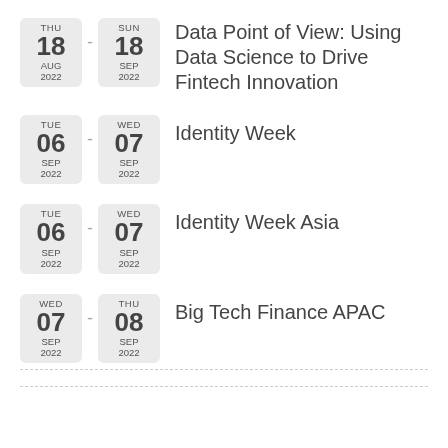THU 18 AUG 2022 - SUN 18 SEP 2022 | Data Point of View: Using Data Science to Drive Fintech Innovation
TUE 06 SEP 2022 - WED 07 SEP 2022 | Identity Week
TUE 06 SEP 2022 - WED 07 SEP 2022 | Identity Week Asia
WED 07 SEP 2022 - THU 08 SEP 2022 | Big Tech Finance APAC